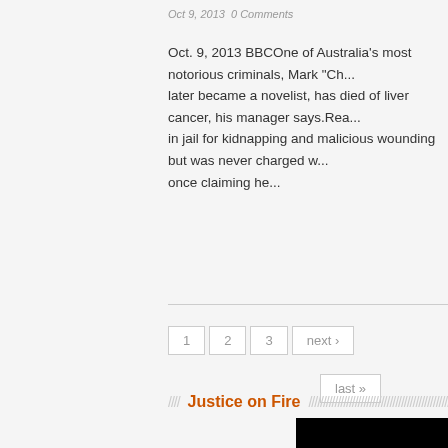Oct 9, 2013  0 Comments
Oct. 9, 2013 BBCOne of Australia's most notorious criminals, Mark "Ch... later became a novelist, has died of liver cancer, his manager says.Rea... in jail for kidnapping and malicious wounding but was never charged w... once claiming he...
1  2  3  next ›  last »
Justice on Fire
[Figure (photo): Book cover for 'Justice on Fire - The Kansas City...' with orange text on black background]